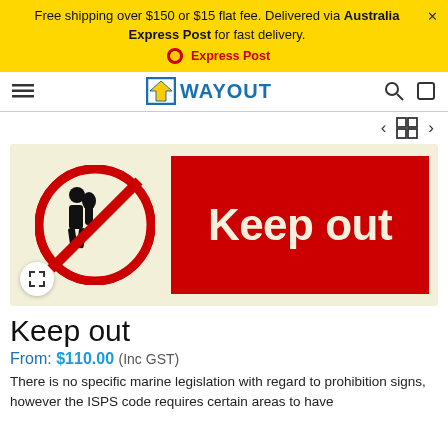Free shipping over $150 or $15 flat fee. Delivered via Australia Express Post for fast delivery. | Express Post
[Figure (logo): WayOut navigation bar with logo, hamburger menu, search and cart icons]
[Figure (photo): Keep out safety sign: left section has a cream/yellow background with a red prohibition circle over a person with raised hand; right section is a red rectangle with large cream text 'Keep out']
Keep out
From: $110.00 (Inc GST)
There is no specific marine legislation with regard to prohibition signs, however the ISPS code requires certain areas to have